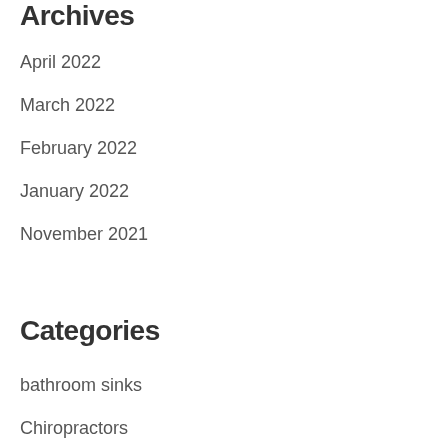Archives
April 2022
March 2022
February 2022
January 2022
November 2021
Categories
bathroom sinks
Chiropractors